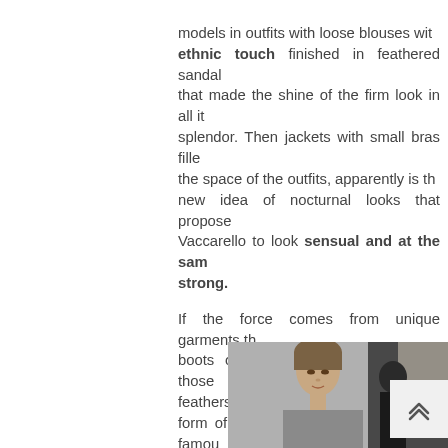models in outfits with loose blouses with ethnic touch finished in feathered sandals that made the shine of the firm look in all its splendor. Then jackets with small bras filled the space of the outfits, apparently is the new idea of nocturnal looks that proposes Vaccarello to look sensual and at the same strong.
If the force comes from unique garments the boots of Saint Laurent are one of those feathers from the ankle to the thigh in the form of tuft and other bulging like the famous boots that used Kendall Jenner on her birthday
[Figure (photo): A model at a fashion show, partially visible, with a blurred figure in black behind her. Photo is cropped showing the model from roughly the shoulders up.]